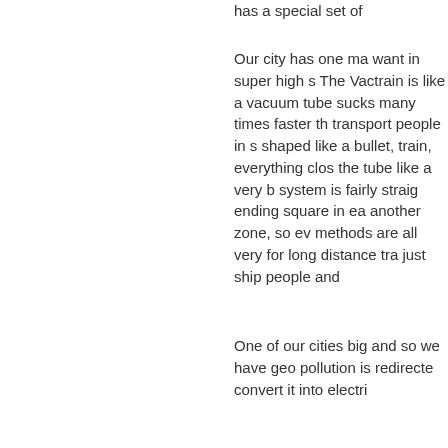has a special set of
Our city has one ma want in super high s The Vactrain is like a vacuum tube sucks many times faster th transport people in s shaped like a bullet, train, everything clos the tube like a very b system is fairly straig ending square in ea another zone, so ev methods are all very for long distance tra just ship people and
One of our cities big and so we have geo pollution is redirecte convert it into electri